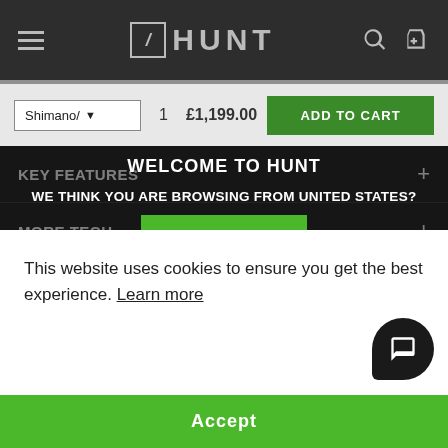[Figure (screenshot): HUNT website navigation bar with hamburger menu, HUNT logo, search and cart icons on dark background]
Shimano/ ▼   1   £1,199.00   ADD TO CART
WELCOME TO HUNT
WE THINK YOU ARE BROWSING FROM UNITED STATES?
YES
KEY FEATURES +
MORE TECH +
WARRANTY, HUNTING ROAD TESTS & WEIGHT LIMITS +
OR
This website uses cookies to ensure you get the best experience. Learn more
Accept